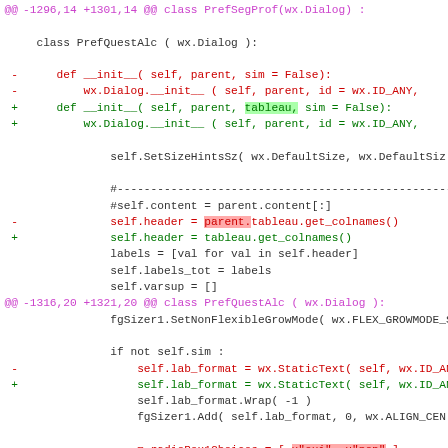[Figure (screenshot): A code diff screenshot showing Python source changes to PrefQuestAlc class including method signature additions of 'tableau' parameter and radioBox choices localization changes from French (oui/non) to English (yes/no).]